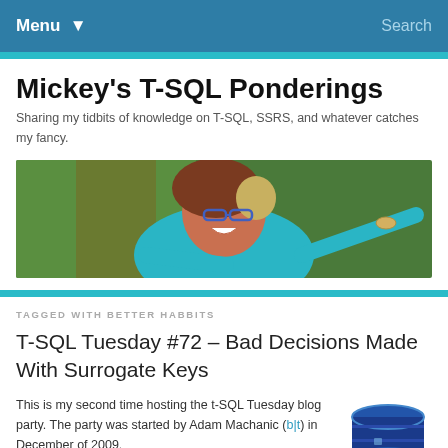Menu  Search
Mickey's T-SQL Ponderings
Sharing my tidbits of knowledge on T-SQL, SSRS, and whatever catches my fancy.
[Figure (photo): A woman with glasses wearing a teal top, arms outstretched, smiling/laughing outdoors with greenery in background]
TAGGED WITH BETTER HABBITS
T-SQL Tuesday #72 – Bad Decisions Made With Surrogate Keys
This is my second time hosting the t-SQL Tuesday blog party. The party was started by Adam Machanic (b|t) in December of 2009.
[Figure (illustration): T-SQL logo — a stylized blue database cylinder icon with T-SQL text]
This month's invitation topic is on Data